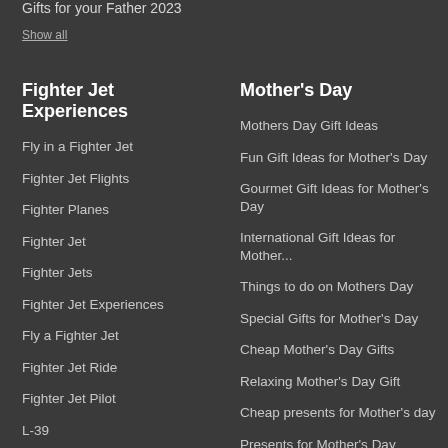Gifts for your Father 2023
Show all
Fighter Jet Experiences
Mother's Day
Fly in a Fighter Jet
Fighter Jet Flights
Fighter Planes
Fighter Jet
Fighter Jets
Fighter Jet Experiences
Fly a Fighter Jet
Fighter Jet Ride
Fighter Jet Pilot
L-39
Show all
Mothers Day Gift Ideas
Fun Gift Ideas for Mother's Day
Gourmet Gift Ideas for Mother's Day
International Gift Ideas for Mother...
Things to do on Mothers Day
Special Gifts for Mother's Day
Cheap Mother's Day Gifts
Relaxing Mother's Day Gift
Cheap presents for Mother's day
Presents for Mother's Day
Show all